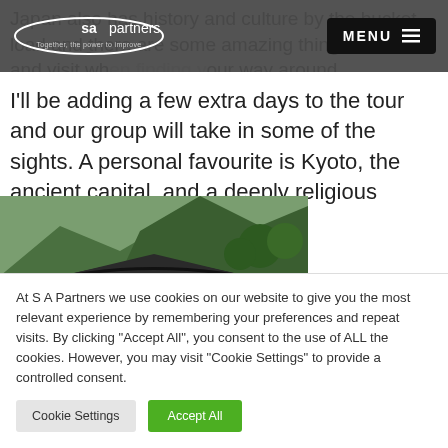sapartners — Together, the power to improve | MENU
Japan also has history and culture by the bucket load and there are some amazing things to see and visit when finding your way around.
I'll be adding a few extra days to the tour and our group will take in some of the sights. A personal favourite is Kyoto, the ancient capital, and a deeply religious place.
[Figure (photo): Photo of a Japanese temple rooftop (Kyoto golden pavilion style) with green forested mountains in the background]
At S A Partners we use cookies on our website to give you the most relevant experience by remembering your preferences and repeat visits. By clicking "Accept All", you consent to the use of ALL the cookies. However, you may visit "Cookie Settings" to provide a controlled consent.